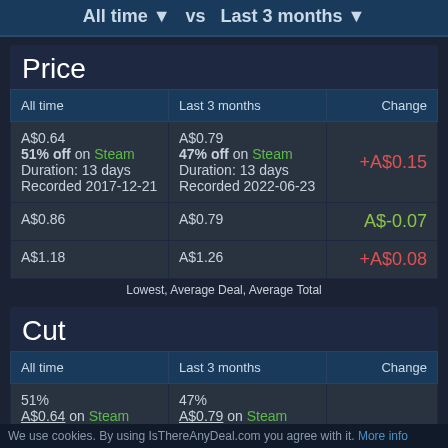All time ▼  vs  Last 3 months ▼
Price
| All time | Last 3 months | Change |
| --- | --- | --- |
| A$0.64
51% off on Steam
Duration: 13 days
Recorded 2017-12-21 | A$0.79
47% off on Steam
Duration: 13 days
Recorded 2022-06-23 | +A$0.15 |
| A$0.86 | A$0.79 | A$-0.07 |
| A$1.18 | A$1.26 | +A$0.08 |
Lowest, Average Deal, Average Total
Cut
| All time | Last 3 months | Change |
| --- | --- | --- |
| 51%
A$0.64 on Steam | 47%
A$0.79 on Steam |  |
We use cookies. By using IsThereAnyDeal.com you agree with it. More info